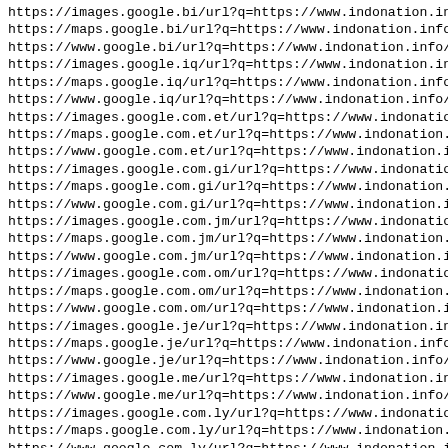https://images.google.bi/url?q=https://www.indonation.info/
https://maps.google.bi/url?q=https://www.indonation.info/
https://www.google.bi/url?q=https://www.indonation.info/
https://images.google.iq/url?q=https://www.indonation.info/
https://maps.google.iq/url?q=https://www.indonation.info/
https://www.google.iq/url?q=https://www.indonation.info/
https://images.google.com.et/url?q=https://www.indonation.i
https://maps.google.com.et/url?q=https://www.indonation.inf
https://www.google.com.et/url?q=https://www.indonation.info
https://images.google.com.gi/url?q=https://www.indonation.i
https://maps.google.com.gi/url?q=https://www.indonation.inf
https://www.google.com.gi/url?q=https://www.indonation.info
https://images.google.com.jm/url?q=https://www.indonation.i
https://maps.google.com.jm/url?q=https://www.indonation.inf
https://www.google.com.jm/url?q=https://www.indonation.info
https://images.google.com.om/url?q=https://www.indonation.i
https://maps.google.com.om/url?q=https://www.indonation.inf
https://www.google.com.om/url?q=https://www.indonation.info
https://images.google.je/url?q=https://www.indonation.info/
https://maps.google.je/url?q=https://www.indonation.info/
https://www.google.je/url?q=https://www.indonation.info/
https://images.google.me/url?q=https://www.indonation.info/
https://www.google.me/url?q=https://www.indonation.info/
https://images.google.com.ly/url?q=https://www.indonation.i
https://maps.google.com.ly/url?q=https://www.indonation.inf
https://www.google.com.ly/url?q=https://www.indonation.info
https://images.google.co.zm/url?q=https://www.indonation.in
https://maps.google.co.zm/url?q=https://www.indonation.info
https://www.google.co.zm/url?q=https://www.indonation.info/
https://images.google.co.tz/url?q=https://www.indonation.